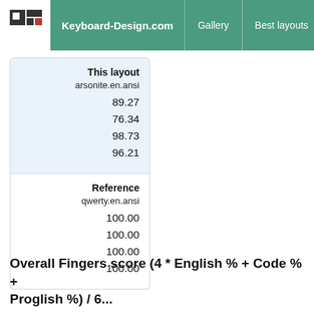Keyboard-Design.com   Gallery   Best layouts   Too
| This layout |  |
| --- | --- |
| arsonite.en.ansi |  |
| 89.27 |  |
| 76.34 |  |
| 98.73 |  |
| 96.21 |  |
| Reference |  |
| --- | --- |
| qwerty.en.ansi |  |
| 100.00 |  |
| 100.00 |  |
| 100.00 |  |
| 100.00 |  |
Overall Fingers score (4 * English % + Code % + Proglish %) / 6...